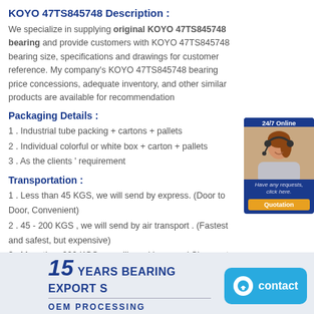KOYO 47TS845748 Description :
We specialize in supplying original KOYO 47TS845748 bearing and provide customers with KOYO 47TS845748 bearing size, specifications and drawings for customer reference. My company's KOYO 47TS845748 bearing price concessions, adequate inventory, and other similar products are available for recommendation
[Figure (photo): Customer service representative with headset, 24/7 Online banner and Quotation button]
Packaging Details :
1 . Industrial tube packing + cartons + pallets
2 . Individual colorful or white box + carton + pallets
3 . As the clients ' requirement
Transportation :
1 . Less than 45 KGS, we will send by express. (Door to Door, Convenient)
2 . 45 - 200 KGS , we will send by air transport . (Fastest and safest, but expensive)
3 . More than 200 KGS, we will send by sea . ( Cheapest and common use )
[Figure (infographic): 15 Years Bearing Export banner with OEM Processing text and contact button]